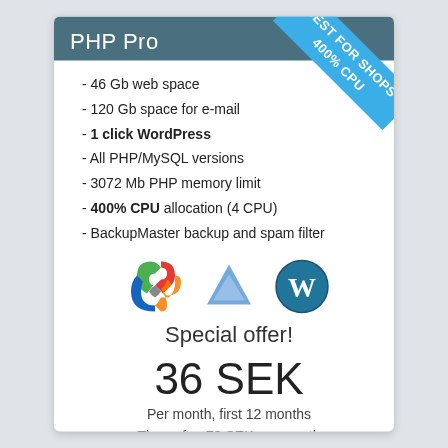PHP Pro
[Figure (infographic): Blue diagonal ribbon banner in top-right corner with text 'BEST FOR SHOPS 400% CPU']
- 46 Gb web space
- 120 Gb space for e-mail
- 1 click WordPress
- All PHP/MySQL versions
- 3072 Mb PHP memory limit
- 400% CPU allocation (4 CPU)
- BackupMaster backup and spam filter
[Figure (logo): Three CMS logos: Joomla (red/green/orange), Prestashop (blue triangle), WordPress (blue W circle)]
Special offer!
36 SEK
Per month, first 12 months
Thereafter 73 SEK per month